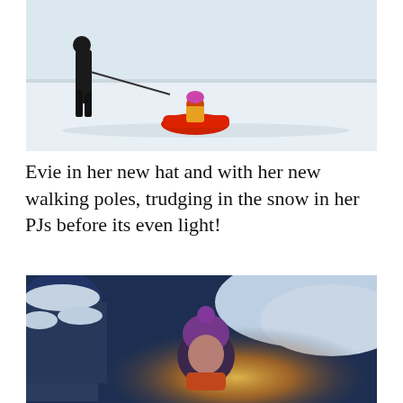[Figure (photo): An adult pulling a child on a red sled across a snowy landscape. The child is wearing a colorful winter jacket and hat. The scene is daytime with bright white snow covering the ground.]
Evie in her new hat and with her new walking poles, trudging in the snow in her PJs before its even light!
[Figure (photo): A young child wearing a purple knitted hat with a pompom, standing outdoors in the snow in very early morning or dusk light. Trees covered in snow are visible in the background along with a warm golden sunrise glow on the horizon.]